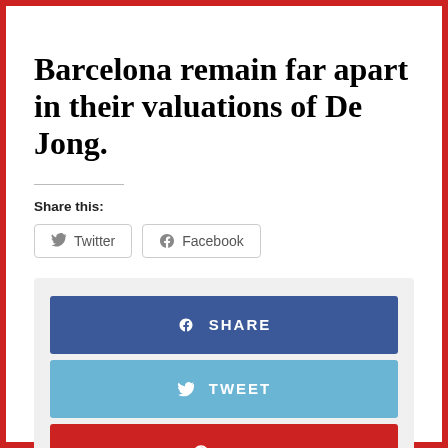Barcelona remain far apart in their valuations of De Jong.
Share this:
[Figure (other): Social share buttons for Twitter and Facebook with icons and rounded borders]
[Figure (other): Social share box with three colored buttons: f SHARE (Facebook blue), Twitter TWEET (light blue), and Pinterest PIN (red)]
◄ Previous post    Next post ►